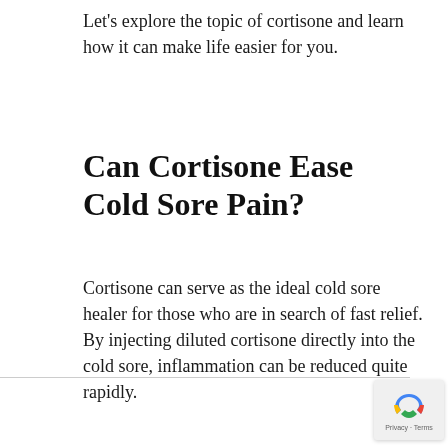Let's explore the topic of cortisone and learn how it can make life easier for you.
Can Cortisone Ease Cold Sore Pain?
Cortisone can serve as the ideal cold sore healer for those who are in search of fast relief. By injecting diluted cortisone directly into the cold sore, inflammation can be reduced quite rapidly.